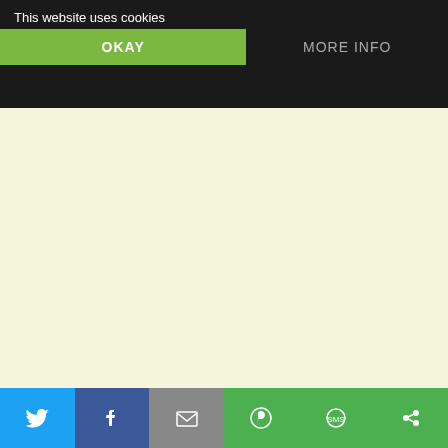This website uses cookies
OKAY
MORE INFO
Reblogged this on and Please read this well written article.
Loading...
Reply
inavukic says:
August 29, 2013 at 1:09 pm
Thank you for reblog Barbara
Loading...
Reply
braco pd says:
August 29, 2013 at 2:54 pm
Ina ,I think that you refuse to except for